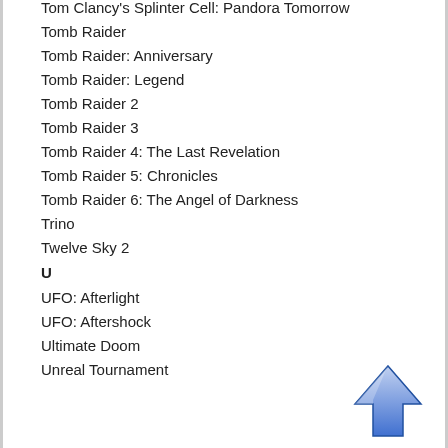Tom Clancy's Splinter Cell: Pandora Tomorrow
Tomb Raider
Tomb Raider: Anniversary
Tomb Raider: Legend
Tomb Raider 2
Tomb Raider 3
Tomb Raider 4: The Last Revelation
Tomb Raider 5: Chronicles
Tomb Raider 6: The Angel of Darkness
Trino
Twelve Sky 2
U
UFO: Afterlight
UFO: Aftershock
Ultimate Doom
Unreal Tournament
[Figure (illustration): Blue upward-pointing arrow icon in bottom right corner]